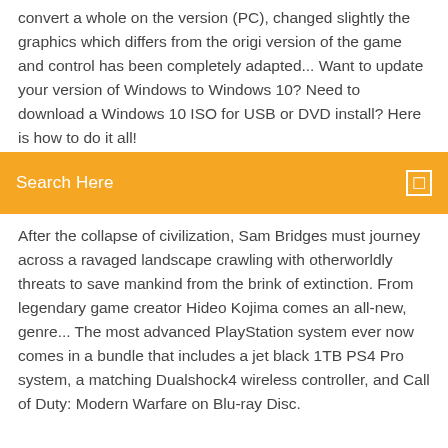convert a whole on the version (PC), changed slightly the graphics which differs from the origi version of the game and control has been completely adapted... Want to update your version of Windows to Windows 10? Need to download a Windows 10 ISO for USB or DVD install? Here is how to do it all!
Search Here
After the collapse of civilization, Sam Bridges must journey across a ravaged landscape crawling with otherworldly threats to save mankind from the brink of extinction. From legendary game creator Hideo Kojima comes an all-new, genre... The most advanced PlayStation system ever now comes in a bundle that includes a jet black 1TB PS4 Pro system, a matching Dualshock4 wireless controller, and Call of Duty: Modern Warfare on Blu-ray Disc.